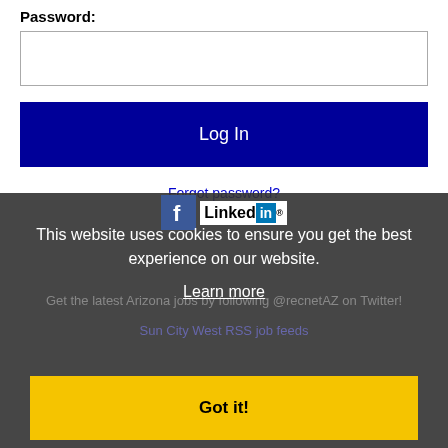Password:
[Figure (screenshot): Password text input field (empty white box with border)]
[Figure (screenshot): Log In button — dark navy blue button with white text]
Forgot password?
[Figure (logo): Facebook icon and LinkedIn logo side by side]
This website uses cookies to ensure you get the best experience on our website.
Learn more
Get the latest Arizona jobs by following @recnetAZ on Twitter!
Sun City West RSS job feeds
Got it!